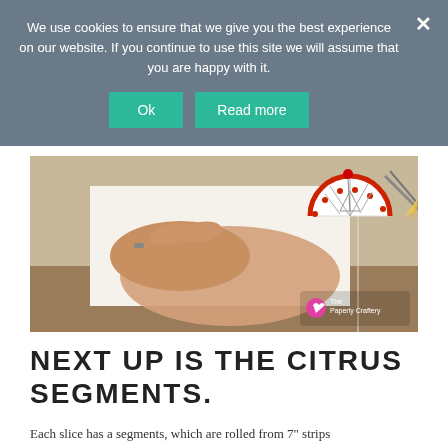We use cookies to ensure that we give you the best experience on our website. If you continue to use this site we will assume that you are happy with it.
[Figure (photo): A hand working on a paper quilling craft project showing a citrus slice design with pins and scissors on a white surface. Watermark reads 'The Paperly Craftery'.]
NEXT UP IS THE CITRUS SEGMENTS.
Each slice has a segments, which are rolled from 7" strips